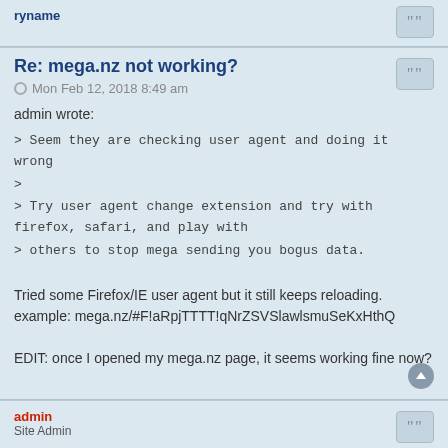Re: mega.nz not working?
Mon Feb 12, 2018 8:49 am
admin wrote:
> Seem they are checking user agent and doing it wrong
>
> Try user agent change extension and try with firefox, safari, and play with
> others to stop mega sending you bogus data.

Tried some Firefox/IE user agent but it still keeps reloading.
example: mega.nz/#F!aRpjTTTT!qNrZSVSlawlsmuSeKxHthQ

EDIT: once I opened my mega.nz page, it seems working fine now?
admin
Site Admin
Re: mega.nz not working?
Mon Feb 12, 2018 2:09 pm
Did changing user agent stopped reloads?